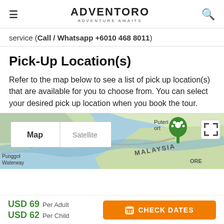ADVENTORO / ADVENTURE AWAITS
service (Call / Whatsapp +6010 468 8011)
Pick-Up Location(s)
Refer to the map below to see a list of pick up location(s) that are available for you to choose from. You can select your desired pick up location when you book the tour.
[Figure (map): Google Maps view showing Punggol Waterway area and Malaysia border, with Map/Satellite toggle and a pet-friendly location pin. Map shows blue water, green land, and MALAYSIA text label.]
USD 69 Per Adult  USD 62 Per Child  CHECK DATES